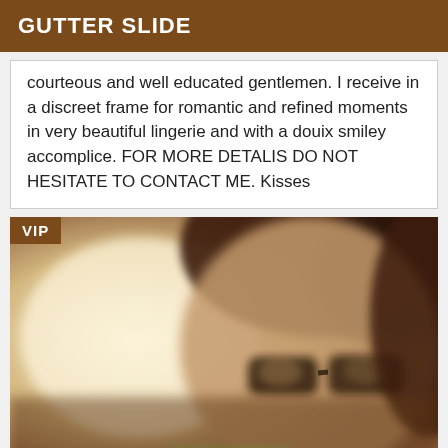GUTTER SLIDE
courteous and well educated gentlemen. I receive in a discreet frame for romantic and refined moments in very beautiful lingerie and with a douix smiley accomplice. FOR MORE DETALIS DO NOT HESITATE TO CONTACT ME. Kisses
[Figure (photo): A blurred close-up photo of a person wearing glasses, with brown hair and warm skin tones. A VIP badge is overlaid in the top-left corner.]